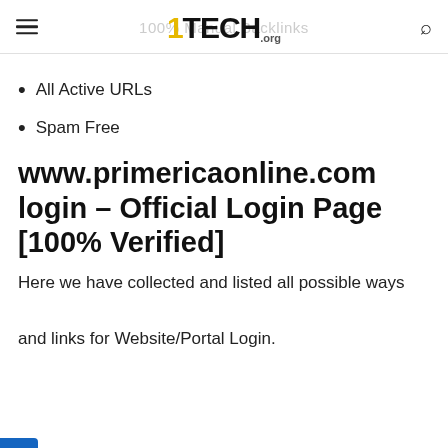1TECH.ORG — 100% Manual Backlinks
All Active URLs
Spam Free
www.primericaonline.com login – Official Login Page [100% Verified]
Here we have collected and listed all possible ways and links for Website/Portal Login.